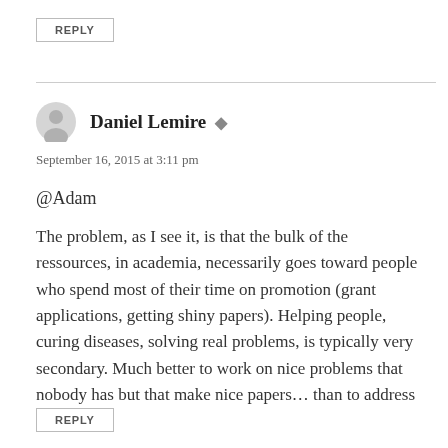REPLY
Daniel Lemire
September 16, 2015 at 3:11 pm
@Adam
The problem, as I see it, is that the bulk of the ressources, in academia, necessarily goes toward people who spend most of their time on promotion (grant applications, getting shiny papers). Helping people, curing diseases, solving real problems, is typically very secondary. Much better to work on nice problems that nobody has but that make nice papers… than to address reality…
REPLY